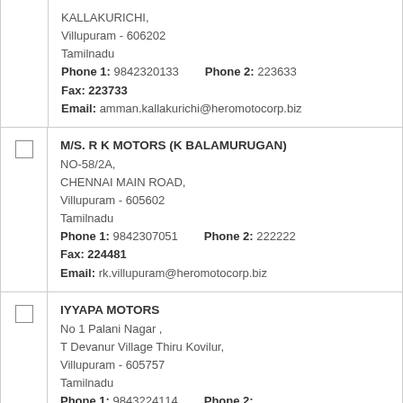| [partial entry] | KALLAKURICHI,
Villupuram - 606202
Tamilnadu
Phone 1: 9842320133  Phone 2: 223633
Fax: 223733
Email: amman.kallakurichi@heromotocorp.biz |
|  | M/S. R K MOTORS (K BALAMURUGAN)
NO-58/2A,
CHENNAI MAIN ROAD,
Villupuram - 605602
Tamilnadu
Phone 1: 9842307051  Phone 2: 222222
Fax: 224481
Email: rk.villupuram@heromotocorp.biz |
|  | IYYAPA MOTORS
No 1 Palani Nagar ,
T Devanur Village Thiru Kovilur,
Villupuram - 605757
Tamilnadu
Phone 1: 9843224114  Phone 2:
Fax:
Email: yes@yamaha-motor-india.com |
|  | GUNA YAMAHA
No :126 Kalkurichi Main Road,
Sankarapuram,
Villupuram - 606401
Tamilnadu |